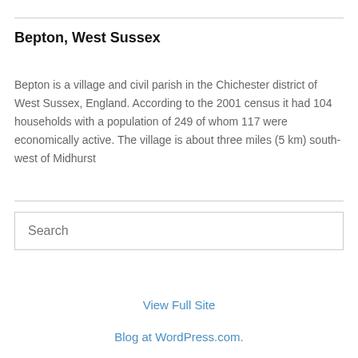Bepton, West Sussex
Bepton is a village and civil parish in the Chichester district of West Sussex, England. According to the 2001 census it had 104 households with a population of 249 of whom 117 were economically active. The village is about three miles (5 km) south-west of Midhurst
Search
View Full Site
Blog at WordPress.com.